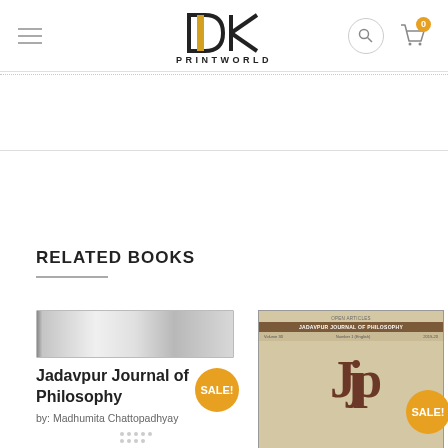DK PRINTWORLD
RELATED BOOKS
[Figure (illustration): Book cover for Jadavpur Journal of Philosophy - gray gradient cover]
Jadavpur Journal of Philosophy
by: Madhumita Chattopadhyay
[Figure (illustration): Book cover for Jadavpur Journal of Philosophy - beige/tan cover with JJP logo letters and brown title banner. SALE! badge visible.]